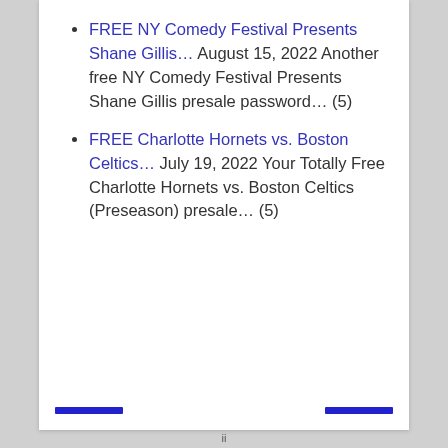FREE NY Comedy Festival Presents Shane Gillis… August 15, 2022 Another free NY Comedy Festival Presents Shane Gillis presale password… (5)
FREE Charlotte Hornets vs. Boston Celtics… July 19, 2022 Your Totally Free Charlotte Hornets vs. Boston Celtics (Preseason) presale… (5)